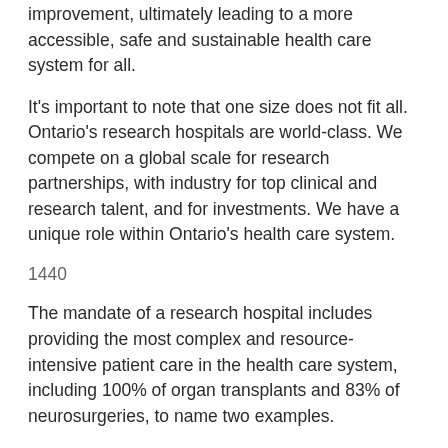improvement, ultimately leading to a more accessible, safe and sustainable health care system for all.
It's important to note that one size does not fit all. Ontario's research hospitals are world-class. We compete on a global scale for research partnerships, with industry for top clinical and research talent, and for investments. We have a unique role within Ontario's health care system.
1440
The mandate of a research hospital includes providing the most complex and resource-intensive patient care in the health care system, including 100% of organ transplants and 83% of neurosurgeries, to name two examples.
In addition, 80% of health research in Ontario takes place in academic health sciences centres—research hospitals—with the balance occurring at universities. As the fourth largest biomedical research centre in North America, Ontario employs 10,000 researchers in a variety of